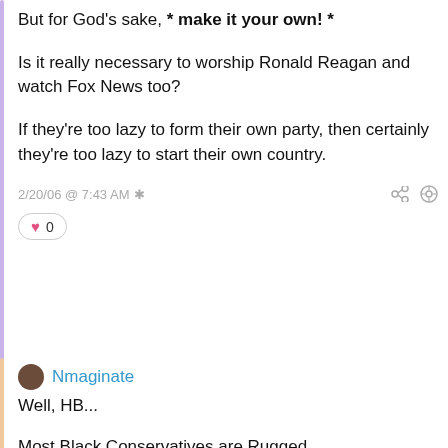But for God's sake, * make it your own! *

Is it really necessary to worship Ronald Reagan and watch Fox News too?

If they're too lazy to form their own party, then certainly they're too lazy to start their own country.
2/20/06 @ 7:43 AM *
♥ 0
Nmaginate
Well, HB...

Most Black Conservatives are Rugged